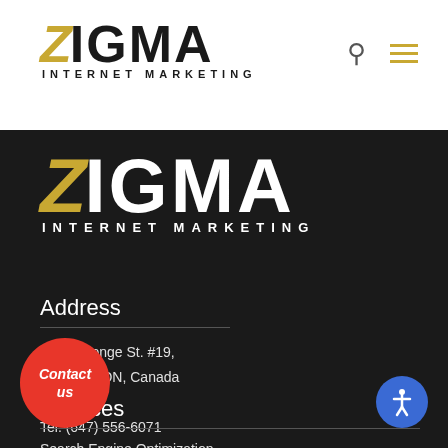[Figure (logo): Zigma Internet Marketing logo in header nav bar, white background. Z in gold/yellow italic, IGMA in dark grey bold. INTERNET MARKETING subtitle in small caps.]
[Figure (logo): Zigma Internet Marketing logo on dark background. Z in gold/yellow italic, IGMA in white bold. INTERNET MARKETING subtitle in white.]
Address
7626A Yonge St. #19,
Thornhill, ON, Canada
L4J 1V9
Tel: (647) 556-6071
Services
Search Engine Optimization
Search Engine Marketing (SEM)